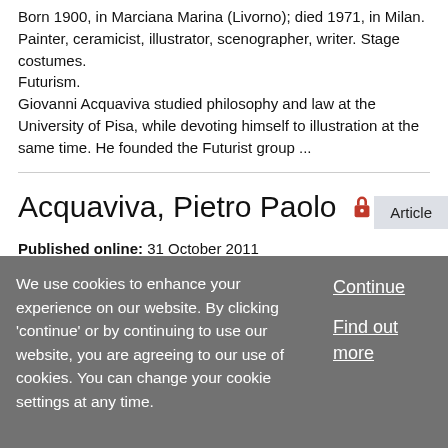Born 1900, in Marciana Marina (Livorno); died 1971, in Milan. Painter, ceramicist, illustrator, scenographer, writer. Stage costumes. Futurism. Giovanni Acquaviva studied philosophy and law at the University of Pisa, while devoting himself to illustration at the same time. He founded the Futurist group ...
Article
Acquaviva, Pietro Paolo 🔒
Published online: 31 October 2011
Collection: Benezit Dictionary of Artists
We use cookies to enhance your experience on our website. By clicking 'continue' or by continuing to use our website, you are agreeing to our use of cookies. You can change your cookie settings at any time.